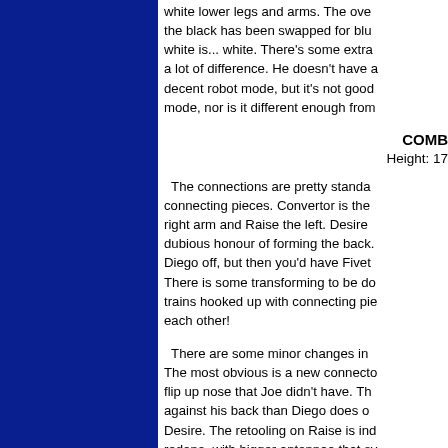white lower legs and arms. The over the black has been swapped for blu white is... white. There's some extra a lot of difference. He doesn't have a decent robot mode, but it's not good mode, nor is it different enough from
COMB Height: 17
The connections are pretty standa connecting pieces. Convertor is the right arm and Raise the left. Desire dubious honour of forming the back. Diego off, but then you'd have Fivet There is some transforming to be do trains hooked up with connecting pie each other!
There are some minor changes in The most obvious is a new connecto flip up nose that Joe didn't have. Th against his back than Diego does o Desire. The retooling on Raise is ind redone, with bigger antennae that sv